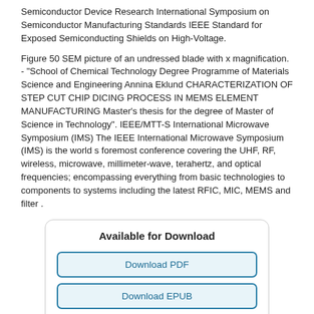Semiconductor Device Research International Symposium on Semiconductor Manufacturing Standards IEEE Standard for Exposed Semiconducting Shields on High-Voltage.
Figure 50 SEM picture of an undressed blade with x magnification. - "School of Chemical Technology Degree Programme of Materials Science and Engineering Annina Eklund CHARACTERIZATION OF STEP CUT CHIP DICING PROCESS IN MEMS ELEMENT MANUFACTURING Master's thesis for the degree of Master of Science in Technology". IEEE/MTT-S International Microwave Symposium (IMS) The IEEE International Microwave Symposium (IMS) is the world s foremost conference covering the UHF, RF, wireless, microwave, millimeter-wave, terahertz, and optical frequencies; encompassing everything from basic technologies to components to systems including the latest RFIC, MIC, MEMS and filter .
Available for Download
Download PDF
Download EPUB
Download FB2
Download MOBI